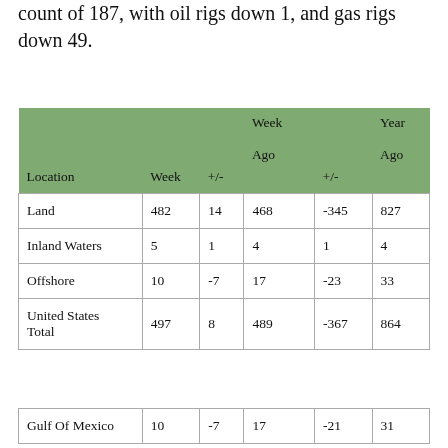count of 187, with oil rigs down 1, and gas rigs down 49.
| Location | Week | +/- | Week Ago | +/- | Year Ago |
| --- | --- | --- | --- | --- | --- |
| Land | 482 | 14 | 468 | -345 | 827 |
| Inland Waters | 5 | 1 | 4 | 1 | 4 |
| Offshore | 10 | -7 | 17 | -23 | 33 |
| United States Total | 497 | 8 | 489 | -367 | 864 |
| Location | Week | +/- | Week Ago | +/- | Year Ago |
| --- | --- | --- | --- | --- | --- |
| Gulf Of Mexico | 10 | -7 | 17 | -21 | 31 |